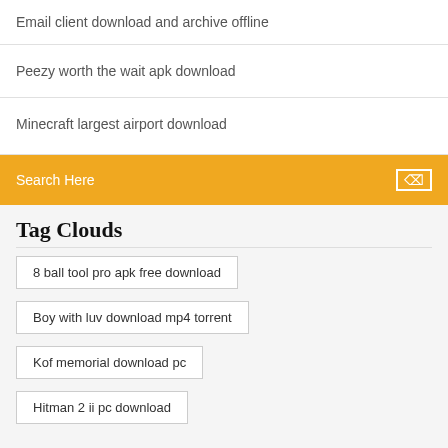Email client download and archive offline
Peezy worth the wait apk download
Minecraft largest airport download
Search Here
Tag Clouds
8 ball tool pro apk free download
Boy with luv download mp4 torrent
Kof memorial download pc
Hitman 2 ii pc download